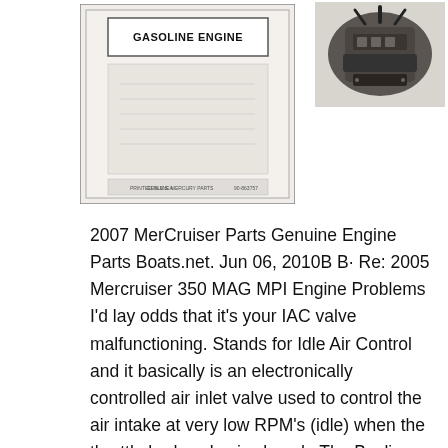[Figure (photo): Scanned cover of a MerCruiser Gasoline Engine parts manual, showing a rectangular document with 'GASOLINE ENGINE' text and some small print at the bottom.]
[Figure (photo): Photograph of a MerCruiser marine gasoline engine assembly showing engine components.]
2007 MerCruiser Parts Genuine Engine Parts Boats.net. Jun 06, 2010B B· Re: 2005 Mercruiser 350 MAG MPI Engine Problems I'd lay odds that it's your IAC valve malfunctioning. Stands for Idle Air Control and it basically is an electronically controlled air inlet valve used to control the air intake at very low RPM's (idle) when the throttle body valve is closed., The Bayliner Owners Club is a gathering place for Bayliner Owners and prospective owners. No matter what size or model of Bayliner